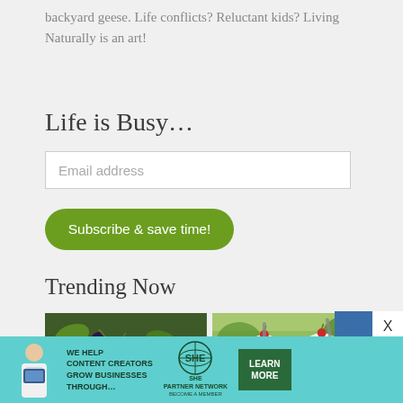backyard geese. Life conflicts? Reluctant kids? Living Naturally is an art!
Life is Busy…
Email address
Subscribe & save time!
Trending Now
[Figure (photo): Photo of dark blue/purple berries or grapes on a vine with green foliage]
[Figure (photo): Photo of two milkshake drinks with metal straws and cherry toppings, green background]
[Figure (infographic): SHE Partner Network advertisement banner: 'We help content creators grow businesses through...' with Learn More button and person photo]